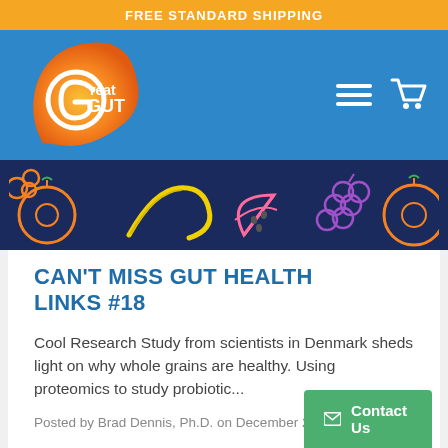FREE STANDARD SHIPPING
[Figure (logo): Great Gut logo — orange teardrop shape with stylized G letter and 'reat GUT' text in white, on a blue background header with hamburger menu and shopping cart icons]
[Figure (illustration): Dark navy banner with colorful fruit outlines: orange, banana, watermelon, grapes, orange — drawn in outline style in orange, yellow, pink, purple colors]
CAN'T MISS GUT HEALTH LINKS #18
Cool Research Study from scientists in Denmark sheds light on why whole grains are healthy. Using proteomics to study probiotic...
Posted by Brad Dennis, Ph.D. on December 29, 2017